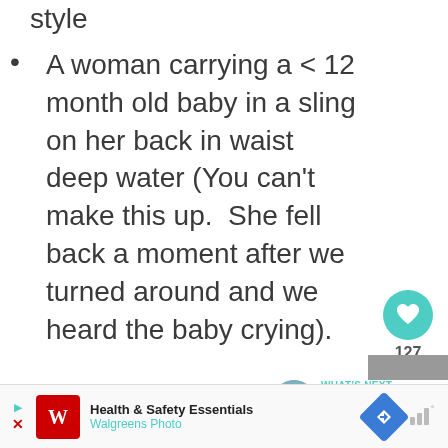style
A woman carrying a < 12 month old baby in a sling on her back in waist deep water (You can't make this up.  She fell back a moment after we turned around and we heard the baby crying).
Women wearing nice
[Figure (infographic): Teal heart/like button with count 127, and share button on the right sidebar]
[Figure (infographic): What's Next arrow link with otter photo: 8 Photos of Animals in...]
[Figure (infographic): Advertisement bar: Health & Safety Essentials, Walgreens Photo]